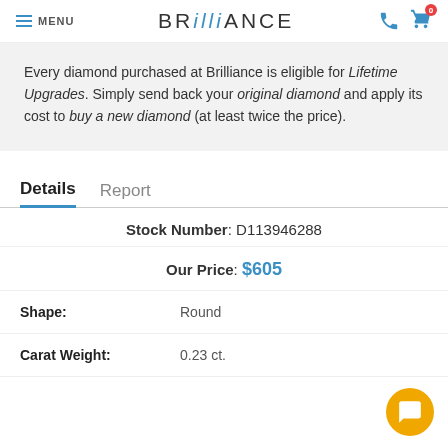MENU | BRILLIANCE
Every diamond purchased at Brilliance is eligible for Lifetime Upgrades. Simply send back your original diamond and apply its cost to buy a new diamond (at least twice the price).
Details  Report
Stock Number: D113946288
Our Price: $605
Shape: Round
Carat Weight: 0.23 ct.